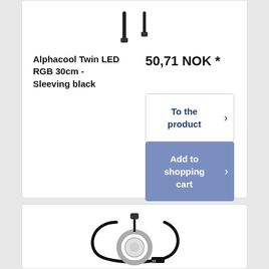[Figure (photo): Product image of Alphacool Twin LED RGB 30cm Sleeving black cable with connectors, partially visible at top of card]
Alphacool Twin LED RGB 30cm - Sleeving black
50,71 NOK *
To the product
Add to shopping cart
[Figure (photo): Product image of a circular LED ring component with attached black cable and connector]